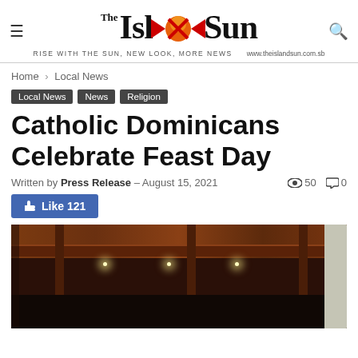The Island Sun — RISE WITH THE SUN, NEW LOOK, MORE NEWS — www.theislandsun.com.sb
Home › Local News
Local News
News
Religion
Catholic Dominicans Celebrate Feast Day
Written by Press Release - August 15, 2021  👁 50  💬 0
👍 Like 121
[Figure (photo): Interior of a building with dark wooden ceiling beams, hanging lights, and a white wall on the right side]